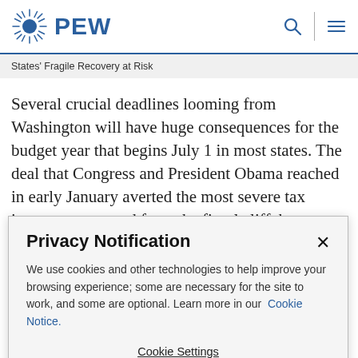PEW
States' Fragile Recovery at Risk
Several crucial deadlines looming from Washington will have huge consequences for the budget year that begins July 1 in most states. The deal that Congress and President Obama reached in early January averted the most severe tax increases expected from the fiscal cliff, but put off the question of $85 billion in spending cuts for fiscal 2013 until
Privacy Notification
We use cookies and other technologies to help improve your browsing experience; some are necessary for the site to work, and some are optional. Learn more in our Cookie Notice.
Cookie Settings